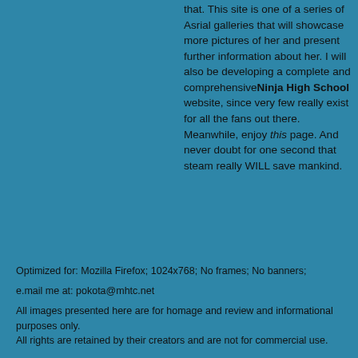that. This site is one of a series of Asrial galleries that will showcase more pictures of her and present further information about her. I will also be developing a complete and comprehensiveNinja High School website, since very few really exist for all the fans out there. Meanwhile, enjoy this page. And never doubt for one second that steam really WILL save mankind.
Optimized for:  Mozilla Firefox;  1024x768; No frames;  No banners;
e.mail me at: pokota@mhtc.net
All images presented here are for homage and review and informational purposes only.
All rights are retained by their creators and are not for commercial use.